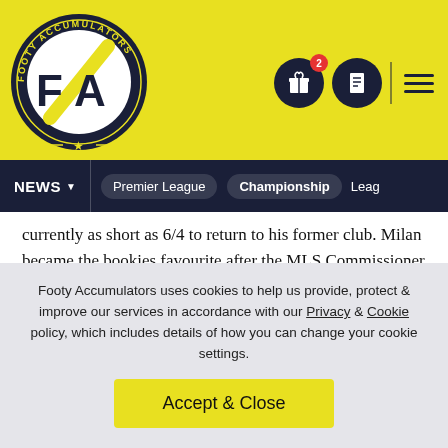[Figure (logo): Footy Accumulators circular logo with FA letters in yellow and black]
NEWS | Premier League | Championship | Leag...
currently as short as 6/4 to return to his former club. Milan became the bookies favourite after the MLS Commissioner Don Garber stated:
“Zlatan is such an interesting guy. He is a 38-year-old guy who is now being recruited by AC Milan, one of the top clubs in the world.”
Considering that Garber doesn’t seem to have any personally allegiance for or against LA Galaxy, it seems unlikely that he would lie about any details regarding Ibrahimovic’s next club
Footy Accumulators uses cookies to help us provide, protect & improve our services in accordance with our Privacy & Cookie policy, which includes details of how you can change your cookie settings.